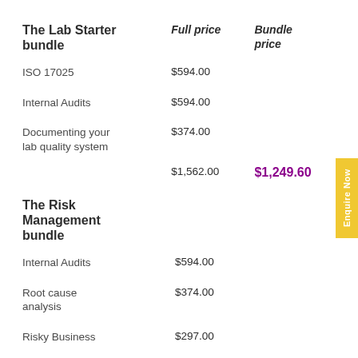| The Lab Starter bundle | Full price | Bundle price |
| --- | --- | --- |
| ISO 17025 | $594.00 |  |
| Internal Audits | $594.00 |  |
| Documenting your lab quality system | $374.00 |  |
|  | $1,562.00 | $1,249.60 |
| The Risk Management bundle | Full price | Bundle price |
| --- | --- | --- |
| Internal Audits | $594.00 |  |
| Root cause analysis | $374.00 |  |
| Risky Business | $297.00 |  |